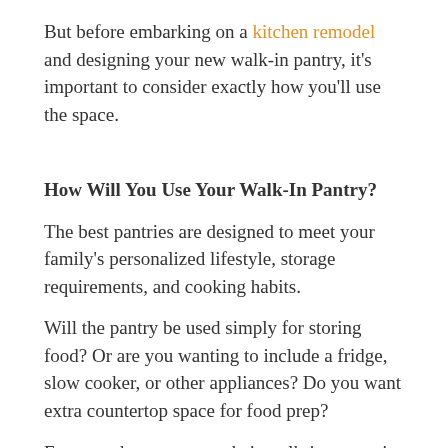But before embarking on a kitchen remodel and designing your new walk-in pantry, it’s important to consider exactly how you’ll use the space.
How Will You Use Your Walk-In Pantry?
The best pantries are designed to meet your family’s personalized lifestyle, storage requirements, and cooking habits.
Will the pantry be used simply for storing food? Or are you wanting to include a fridge, slow cooker, or other appliances? Do you want extra countertop space for food prep?
For some homeowners, their walk-in pantry is a